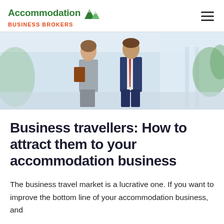Accommodation BUSINESS BROKERS
[Figure (photo): Two business professionals, a woman in a grey blazer holding a brown folder and a man in a dark suit with a red tie, walking and talking in a bright modern corridor with glass railings and greenery in the background.]
Business travellers: How to attract them to your accommodation business
The business travel market is a lucrative one. If you want to improve the bottom line of your accommodation business, and